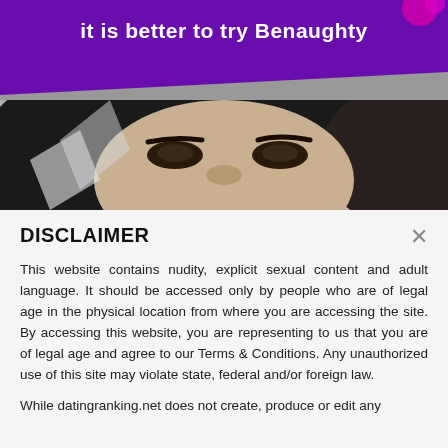[Figure (photo): Advertisement image showing a woman's face partially covered by a purple diagonal banner with text 'it is better to try Benaughty' in white bold font. The background shows a grayscale photo of a woman looking up at the camera.]
DISCLAIMER
This website contains nudity, explicit sexual content and adult language. It should be accessed only by people who are of legal age in the physical location from where you are accessing the site. By accessing this website, you are representing to us that you are of legal age and agree to our Terms & Conditions. Any unauthorized use of this site may violate state, federal and/or foreign law.
While datingranking.net does not create, produce or edit any